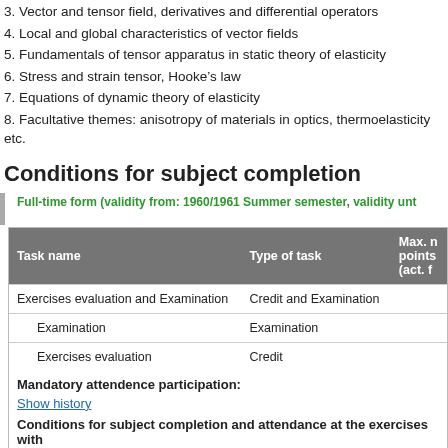3. Vector and tensor field, derivatives and differential operators
4. Local and global characteristics of vector fields
5. Fundamentals of tensor apparatus in static theory of elasticity
6. Stress and strain tensor, Hooke's law
7. Equations of dynamic theory of elasticity
8. Facultative themes: anisotropy of materials in optics, thermoelasticity etc.
Conditions for subject completion
Full-time form (validity from: 1960/1961 Summer semester, validity unt…
| Task name | Type of task | Max. n points (act. f |
| --- | --- | --- |
| Exercises evaluation and Examination | Credit and Examination |  |
| Examination | Examination |  |
| Exercises evaluation | Credit |  |
Mandatory attendence participation:
Show history
Conditions for subject completion and attendance at the exercises with